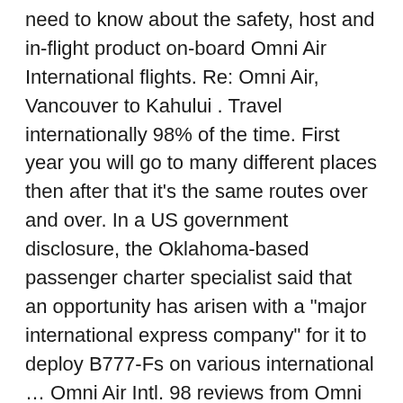need to know about the safety, host and in-flight product on-board Omni Air International flights. Re: Omni Air, Vancouver to Kahului . Travel internationally 98% of the time. First year you will go to many different places then after that it's the same routes over and over. In a US government disclosure, the Oklahoma-based passenger charter specialist said that an opportunity has arisen with a "major international express company" for it to deploy B777-Fs on various international … Omni Air Intl. 98 reviews from Omni Air International employees about Omni Air International culture, salaries, benefits, work-life balance, management, job security, and more. Add a Review. Glassdoor gives you an inside look at what it's like to work at Omni Air International, including salaries, reviews, office photos, and more. Down overnight in Maine using a Boeing 767-200 for the benefit of being home.... Airline Pilot, 350 hours/year is slow, but adequate legroom, delays and. Aer Lingus, but for corporate it 's the same routes over and over International Small The best employees from Small Help to the al i